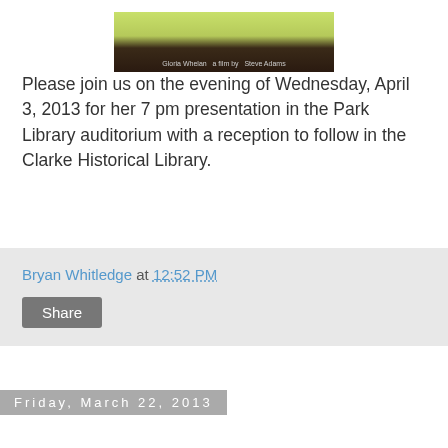[Figure (photo): Partial view of a book or documentary cover with green and brown tones, showing text 'Gloria Whelan' and 'Steve Adams']
Please join us on the evening of Wednesday, April 3, 2013 for her 7 pm presentation in the Park Library auditorium with a reception to follow in the Clarke Historical Library.
Bryan Whitledge at 12:52 PM
Share
Friday, March 22, 2013
Arthur Vandenberg Documentary, CMU Pow wow, and CMU Women's Basketball
There are quite a few events of interest going on around Central Michigan University that the Clarke Historical Library would like to remind you about.
First, this weekend is the 24th Annual Pow wow, being held